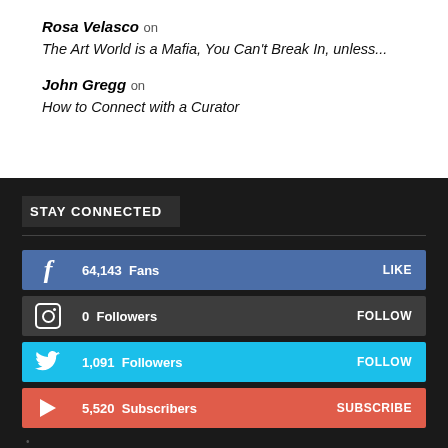Rosa Velasco on
The Art World is a Mafia, You Can't Break In, unless...
John Gregg on
How to Connect with a Curator
STAY CONNECTED
64,143  Fans   LIKE
0  Followers   FOLLOW
1,091  Followers   FOLLOW
5,520  Subscribers   SUBSCRIBE